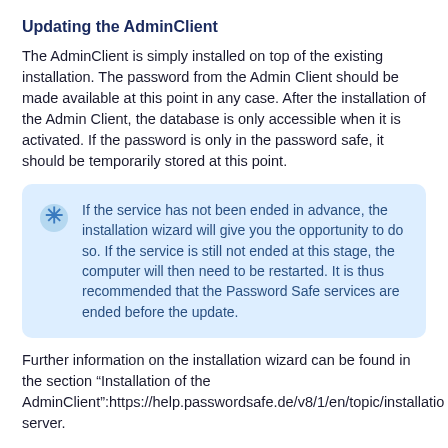Updating the AdminClient
The AdminClient is simply installed on top of the existing installation. The password from the Admin Client should be made available at this point in any case. After the installation of the Admin Client, the database is only accessible when it is activated. If the password is only in the password safe, it should be temporarily stored at this point.
If the service has not been ended in advance, the installation wizard will give you the opportunity to do so. If the service is still not ended at this stage, the computer will then need to be restarted. It is thus recommended that the Password Safe services are ended before the update.
Further information on the installation wizard can be found in the section “Installation of the AdminClient”:https://help.passwordsafe.de/v8/1/en/topic/installatio server.